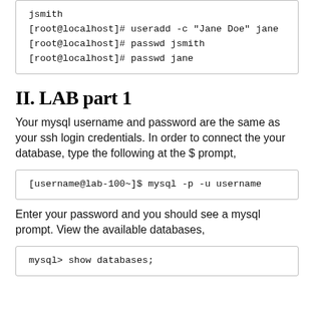jsmith
[root@localhost]# useradd -c "Jane Doe" jane
[root@localhost]# passwd jsmith
[root@localhost]# passwd jane
II. LAB part 1
Your mysql username and password are the same as your ssh login credentials. In order to connect the your database, type the following at the $ prompt,
[username@lab-100~]$ mysql -p -u username
Enter your password and you should see a mysql prompt. View the available databases,
mysql> show databases;